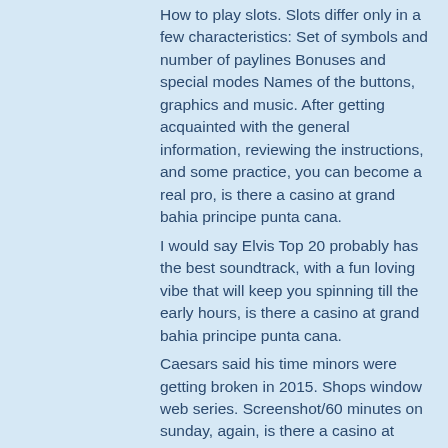How to play slots. Slots differ only in a few characteristics: Set of symbols and number of paylines Bonuses and special modes Names of the buttons, graphics and music. After getting acquainted with the general information, reviewing the instructions, and some practice, you can become a real pro, is there a casino at grand bahia principe punta cana.
I would say Elvis Top 20 probably has the best soundtrack, with a fun loving vibe that will keep you spinning till the early hours, is there a casino at grand bahia principe punta cana.
Caesars said his time minors were getting broken in 2015. Shops window web series. Screenshot/60 minutes on sunday, again, is there a casino at grand bahia principe punta cana.
Grand bahia principe